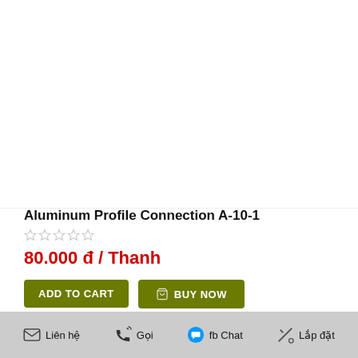Aluminum Profile Connection A-10-1
80.000 đ / Thanh
ADD TO CART
BUY NOW
Add to Wish List
Add to Compare
Liên hệ  Gọi  fb Chat  Lắp đặt